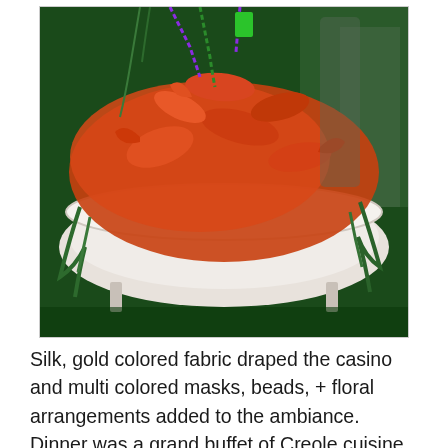[Figure (photo): A white bathtub overflowing with cooked crawfish (red/orange), decorated with green plants/seaweed draped over the sides. Colorful Mardi Gras beads hang from above. People visible in the background against a dark green backdrop.]
Silk, gold colored fabric draped the casino and multi colored masks, beads, + floral arrangements added to the ambiance. Dinner was a grand buffet of Creole cuisine and authentic New Orleans style dishes soulfully prepared by Hattie's. The taste was